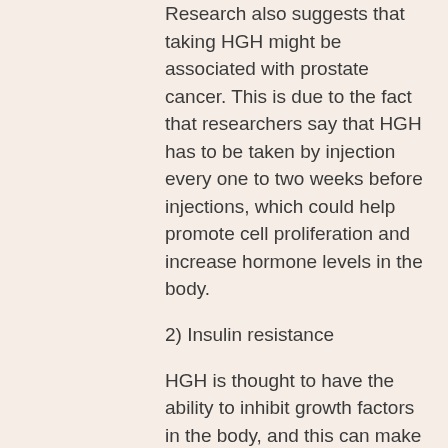Research also suggests that taking HGH might be associated with prostate cancer. This is due to the fact that researchers say that HGH has to be taken by injection every one to two weeks before injections, which could help promote cell proliferation and increase hormone levels in the body.
2) Insulin resistance
HGH is thought to have the ability to inhibit growth factors in the body, and this can make you gain weight, which is why it is linked to insulin resistance.
3) Low Muscle
HGH seems to be one of the most beneficial muscle building supplements, because it provides muscle growth and maintenance. It increases levels of growth factors and collagen and is thought to enhance